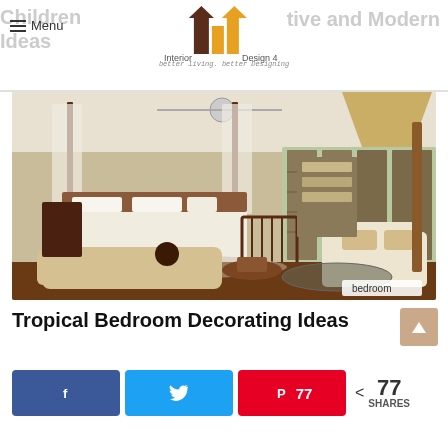Menu | Interior Design 4 – better living, better Designing
[Figure (photo): Tropical bedroom interior with four-poster canopy bed, cream chaise lounge, wicker pendant lamp, wooden furniture, and large windows with shutters. A 'bedroom' badge appears in the lower-right corner.]
Tropical Bedroom Decorating Ideas
< 77 SHARES
[Figure (infographic): Social share buttons: Facebook (f icon), Twitter (bird icon), Pinterest (P icon) with count 77, and total share count < 77 SHARES]